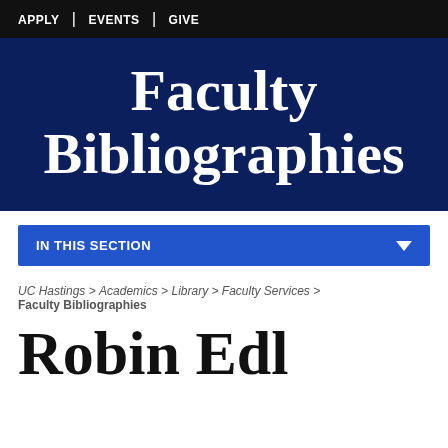APPLY | EVENTS | GIVE
Faculty Bibliographies
IN THIS SECTION
UC Hastings > Academics > Library > Faculty Services > Faculty Bibliographies
Robin Edl…